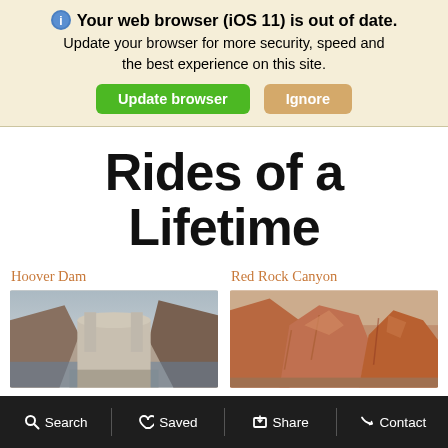Your web browser (iOS 11) is out of date. Update your browser for more security, speed and the best experience on this site. Update browser | Ignore
Rides of a Lifetime
Hoover Dam
[Figure (photo): Aerial photo of Hoover Dam showing the dam structure and surrounding canyon landscape]
Red Rock Canyon
[Figure (photo): Photo of Red Rock Canyon showing red and orange rocky formations]
Search  Saved  Share  Contact